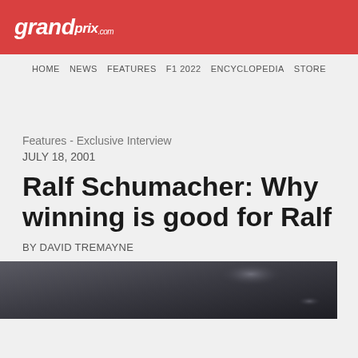[Figure (logo): grandprix.com logo in white italic text on red background banner]
HOME NEWS FEATURES F1 2022 ENCYCLOPEDIA STORE
Features - Exclusive Interview
JULY 18, 2001
Ralf Schumacher: Why winning is good for Ralf
BY DAVID TREMAYNE
[Figure (photo): Dark blurry photograph, appears to be a racing/automotive scene with dark tones]